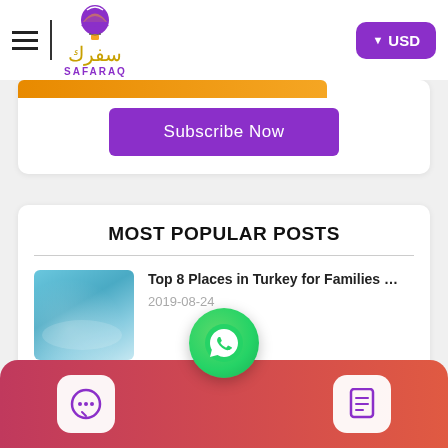SAFARAQ / سفرك — USD
Subscribe Now
MOST POPULAR POSTS
Top 8 Places in Turkey for Families …
2019-08-24
The Be … on … and A … bu
2019-06-25